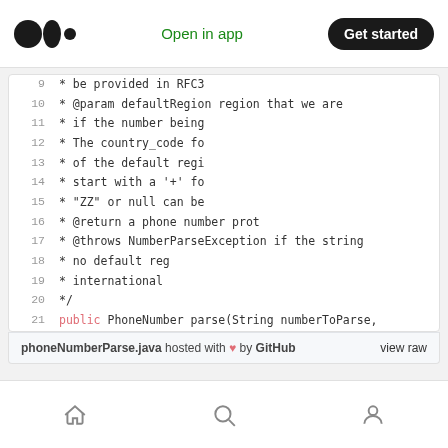Medium logo | Open in app | Get started
[Figure (screenshot): Code snippet showing Java Javadoc comment lines 9-21 for a phoneNumberParse method, with line numbers on the left]
phoneNumberParse.java hosted with ❤ by GitHub  view raw
Home icon | Search icon | Profile icon